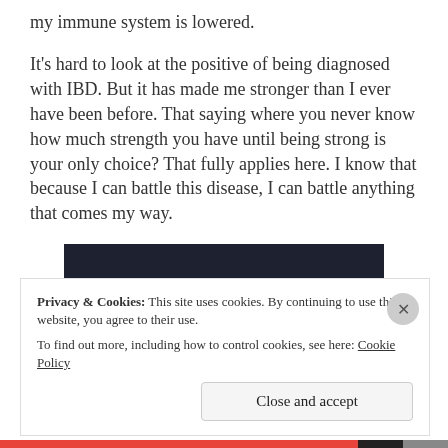my immune system is lowered.
It's hard to look at the positive of being diagnosed with IBD. But it has made me stronger than I ever have been before. That saying where you never know how much strength you have until being strong is your only choice? That fully applies here. I know that because I can battle this disease, I can battle anything that comes my way.
[Figure (other): Dark banner with a teal 'Learn More' button]
Privacy & Cookies: This site uses cookies. By continuing to use this website, you agree to their use. To find out more, including how to control cookies, see here: Cookie Policy
Close and accept